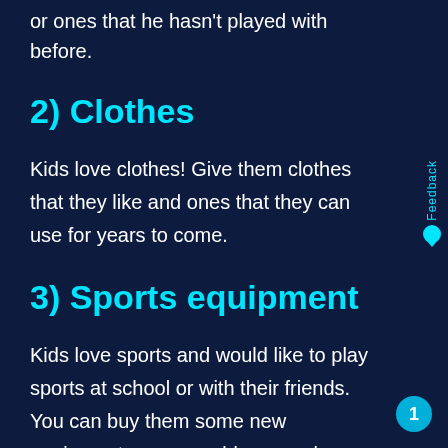or ones that he hasn't played with before.
2) Clothes
Kids love clothes! Give them clothes that they like and ones that they can use for years to come.
3) Sports equipment
Kids love sports and would like to play sports at school or with their friends. You can buy them some new equipment or you could even ask a friend if they have some equipment that